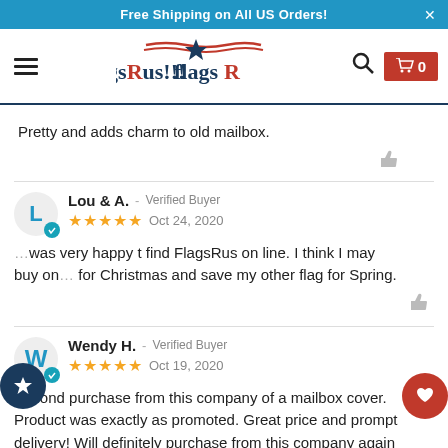Free Shipping on All US Orders!
[Figure (logo): FlagsRus!!! logo with star and red wavy lines above text]
Pretty and adds charm to old mailbox.
Lou & A. - Verified Buyer
★★★★★ Oct 24, 2020
I was very happy t find FlagsRus on line. I think I may buy on for Christmas and save my other flag for Spring.
Wendy H. - Verified Buyer
★★★★★ Oct 19, 2020
Second purchase from this company of a mailbox cover. Product was exactly as promoted. Great price and prompt delivery! Will definitely purchase from this company again